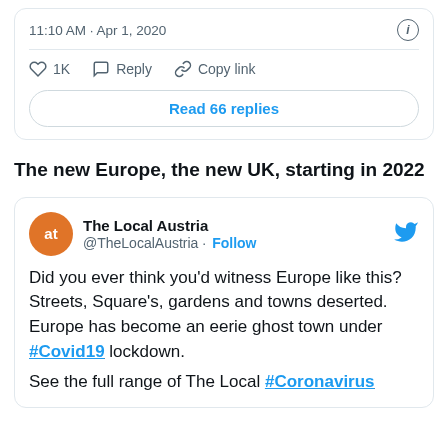11:10 AM · Apr 1, 2020
1K  Reply  Copy link
Read 66 replies
The new Europe, the new UK, starting in 2022
[Figure (screenshot): Tweet from @TheLocalAustria with text: Did you ever think you'd witness Europe like this? Streets, Square's, gardens and towns deserted. Europe has become an eerie ghost town under #Covid19 lockdown. See the full range of The Local #Coronavirus]
Did you ever think you'd witness Europe like this?
Streets, Square's, gardens and towns deserted. Europe has become an eerie ghost town under #Covid19 lockdown.

See the full range of The Local #Coronavirus